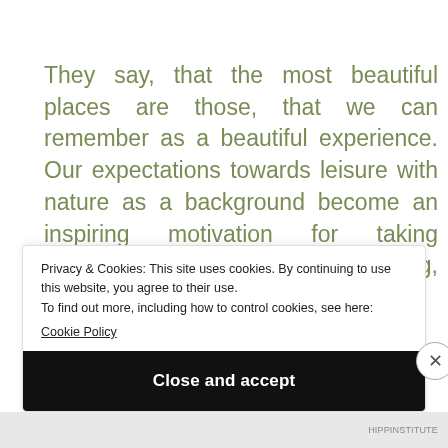They say, that the most beautiful places are those, that we can remember as a beautiful experience. Our expectations towards leisure with nature as a background become an inspiring motivation for taking photographs, painting, sculpting, writing, reading or/and
Privacy & Cookies: This site uses cookies. By continuing to use this website, you agree to their use.
To find out more, including how to control cookies, see here:
Cookie Policy
Close and accept